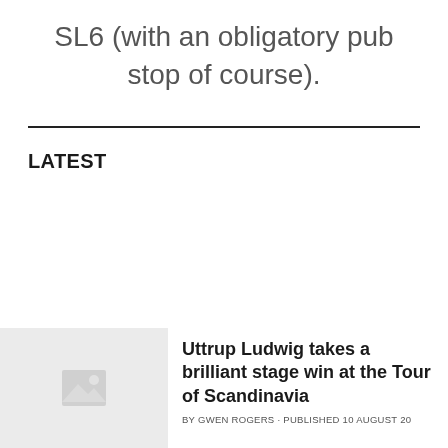SL6 (with an obligatory pub stop of course).
LATEST
[Figure (photo): Placeholder image thumbnail for article about Uttrup Ludwig at Tour of Scandinavia]
Uttrup Ludwig takes a brilliant stage win at the Tour of Scandinavia
BY GWEN ROGERS · PUBLISHED 10 AUGUST 20